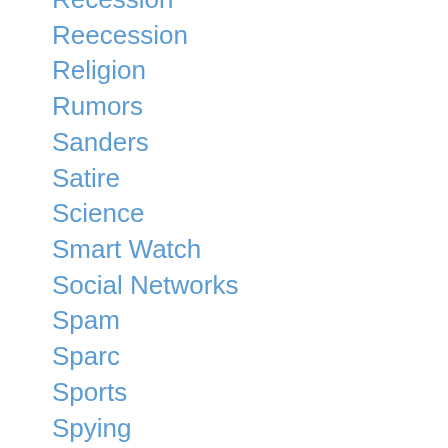Recession
Reecession
Religion
Rumors
Sanders
Satire
Science
Smart Watch
Social Networks
Spam
Sparc
Sports
Spying
Statistics
Sun
SyFy
Symbian
telecommunications
Tourism